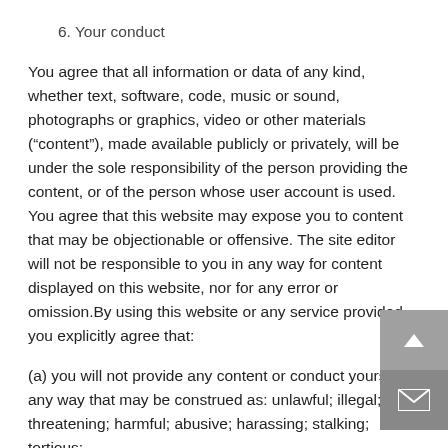6. Your conduct
You agree that all information or data of any kind, whether text, software, code, music or sound, photographs or graphics, video or other materials (“content”), made available publicly or privately, will be under the sole responsibility of the person providing the content, or of the person whose user account is used. You agree that this website may expose you to content that may be objectionable or offensive. The site editor will not be responsible to you in any way for content displayed on this website, nor for any error or omission.By using this website or any service provided, you explicitly agree that:
(a) you will not provide any content or conduct yourself in any way that may be construed as: unlawful; illegal; threatening; harmful; abusive; harassing; stalking; tortious;